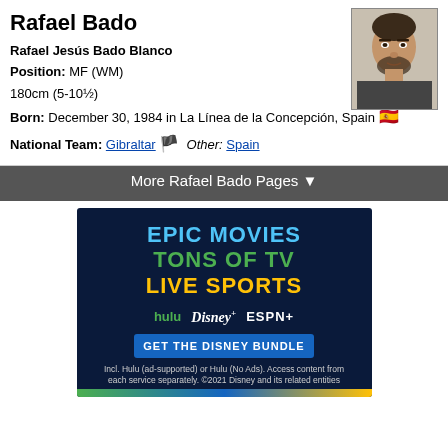Rafael Bado
Rafael Jesús Bado Blanco
Position: MF (WM)
180cm (5-10½)
Born: December 30, 1984 in La Línea de la Concepción, Spain 🇪🇸
National Team: Gibraltar 🏔 Other: Spain
[Figure (photo): Headshot photo of Rafael Bado]
More Rafael Bado Pages ▼
[Figure (infographic): Disney Bundle advertisement featuring: EPIC MOVIES, TONS OF TV, LIVE SPORTS with Hulu, Disney+, ESPN+ logos and GET THE DISNEY BUNDLE button. Fine print: Incl. Hulu (ad-supported) or Hulu (No Ads). Access content from each service separately. ©2021 Disney and its related entities]